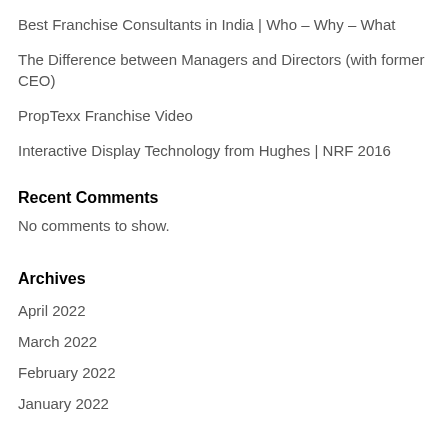Best Franchise Consultants in India | Who – Why – What
The Difference between Managers and Directors (with former CEO)
PropTexx Franchise Video
Interactive Display Technology from Hughes | NRF 2016
Recent Comments
No comments to show.
Archives
April 2022
March 2022
February 2022
January 2022